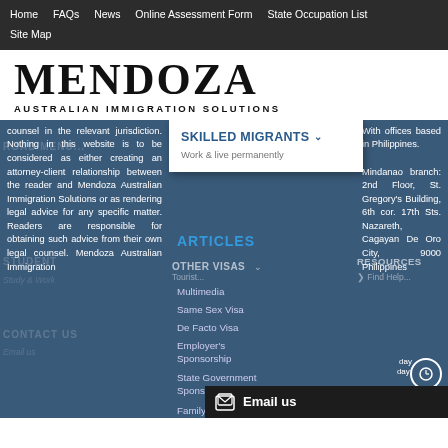Home  FAQs  News  Online Assessment Form  State Occupation List  Site Map
MENDOZA
AUSTRALIAN IMMIGRATION SOLUTIONS
counsel in the relevant jurisdiction. Nothing in this website is to be considered as either creating an attorney-client relationship between the reader and Mendoza Australian Immigration Solutions or as rendering legal advice for any specific matter. Readers are responsible for obtaining such advice from their own legal counsel. Mendoza Australian Immigration
[Figure (screenshot): Dropdown menu showing SKILLED MIGRANTS with chevron, subtitle Work & live permanently]
ARTICLES
Multimedia
Same Sex Visa
De Facto Visa
Employer's Sponsorship
State Government Sponsorship
Family-Skilled Sponsorship
With offices based in Philippines.

Mindanao branch: 2nd Floor, St. Gregory's Building, 6th cor. 17th Sts. Nazareth, Cagayan De Oro City, 9000 Philippines
Email us